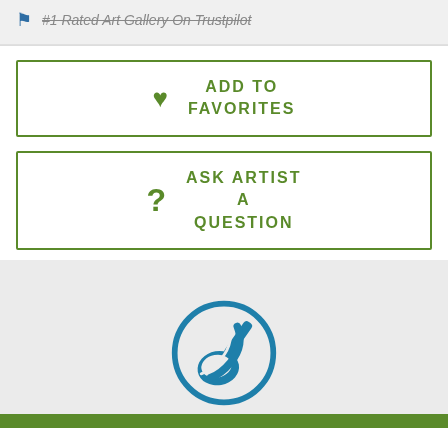#1 Rated Art Gallery On Trustpilot
ADD TO FAVORITES
ASK ARTIST A QUESTION
[Figure (illustration): A circular icon with a blue border containing a paintbrush and palette illustration in dark teal/blue color, on a light gray background.]